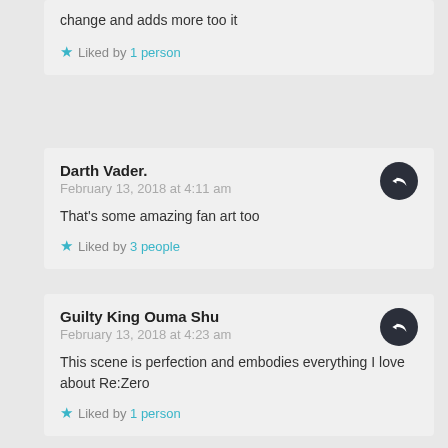change and adds more too it
★ Liked by 1 person
Darth Vader.
February 13, 2018 at 4:11 am
That's some amazing fan art too
★ Liked by 3 people
Guilty King Ouma Shu
February 13, 2018 at 4:23 am
This scene is perfection and embodies everything I love about Re:Zero
★ Liked by 1 person